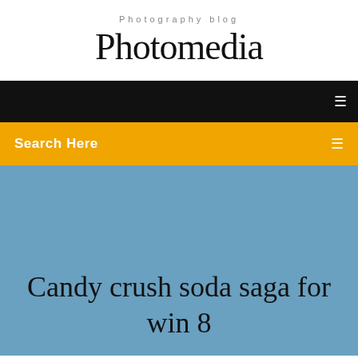Photography blog
Photomedia
[Figure (screenshot): Black navigation bar with a small white icon on the right]
[Figure (screenshot): Yellow/amber search bar with 'Search Here' text on left and a small white icon on right]
Candy crush soda saga for win 8